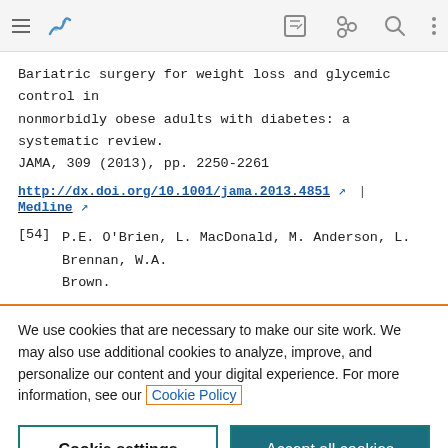Toolbar with navigation icons
Bariatric surgery for weight loss and glycemic control in nonmorbidly obese adults with diabetes: a systematic review. JAMA, 309 (2013), pp. 2250-2261
http://dx.doi.org/10.1001/jama.2013.4851 | Medline
[54] P.E. O'Brien, L. MacDonald, M. Anderson, L. Brennan, W.A. Brown.
We use cookies that are necessary to make our site work. We may also use additional cookies to analyze, improve, and personalize our content and your digital experience. For more information, see our Cookie Policy
Cookie settings | Accept all cookies